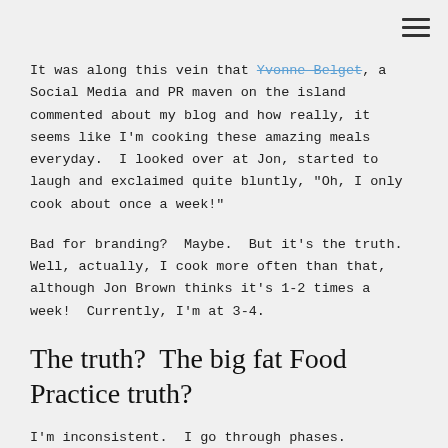It was along this vein that Yvonne Belget, a Social Media and PR maven on the island commented about my blog and how really, it seems like I'm cooking these amazing meals everyday.  I looked over at Jon, started to laugh and exclaimed quite bluntly, "Oh, I only cook about once a week!"
Bad for branding?  Maybe.  But it's the truth.  Well, actually, I cook more often than that, although Jon Brown thinks it's 1-2 times a week!  Currently, I'm at 3-4.
The truth?  The big fat Food Practice truth?
I'm inconsistent.  I go through phases.  Sometimes it's every other night spaced with creative rearranging of left overs.  Others it's me experimenting with taking in less